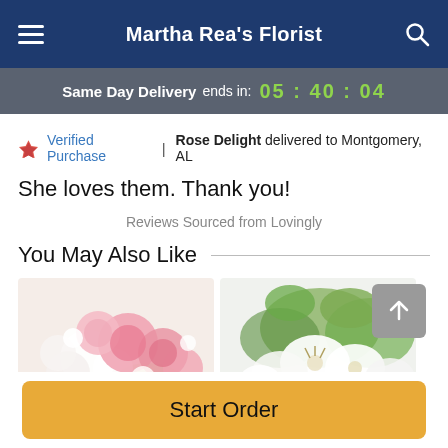Martha Rea's Florist
Same Day Delivery ends in: 05 : 40 : 04
Verified Purchase | Rose Delight delivered to Montgomery, AL
She loves them. Thank you!
Reviews Sourced from Lovingly
You May Also Like
[Figure (photo): Two flower arrangements partially visible at bottom of page: pink roses with white flowers on left, white lilies arrangement on right]
Start Order